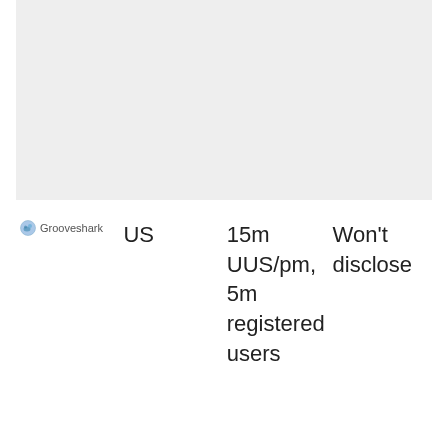[Figure (other): Gray placeholder image/screenshot area at the top of the page]
|  |  |  |  |
| --- | --- | --- | --- |
| Grooveshark | US | 15m UUS/pm, 5m registered users | Won't disclose |